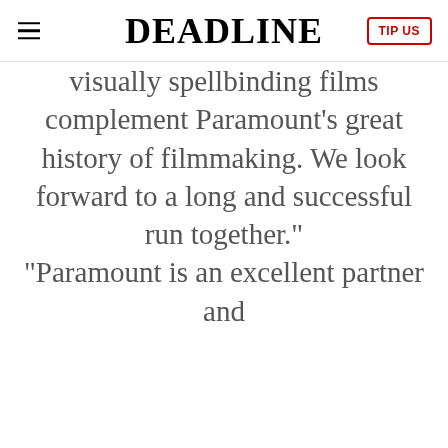DEADLINE
visually spellbinding films complement Paramount’s great history of filmmaking. We look forward to a long and successful run together.” “Paramount is an excellent partner and